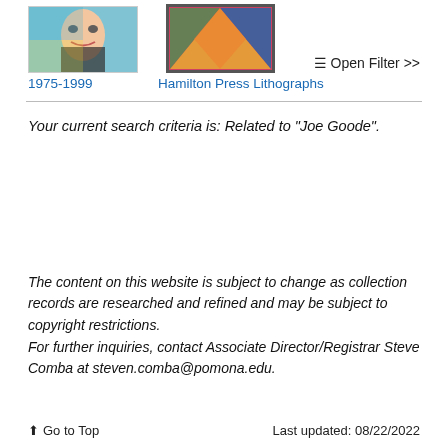[Figure (photo): Thumbnail image of a pop-art style portrait (face of a person with stylized colors)]
1975-1999
[Figure (photo): Thumbnail image of an abstract geometric lithograph with colorful triangular shapes]
Hamilton Press Lithographs
≡ Open Filter >>
Your current search criteria is: Related to "Joe Goode".
The content on this website is subject to change as collection records are researched and refined and may be subject to copyright restrictions.
For further inquiries, contact Associate Director/Registrar Steve Comba at steven.comba@pomona.edu.
↑ Go to Top   Last updated: 08/22/2022